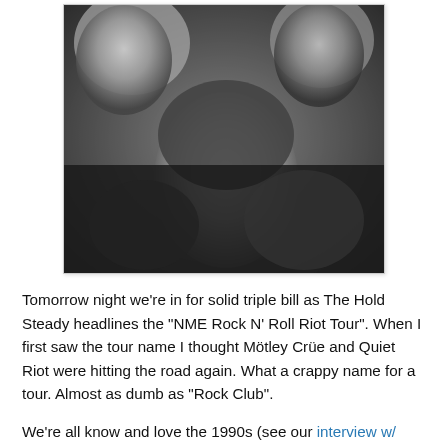[Figure (photo): Black and white photograph of three people in a close group pose. A young person in the center stares wide-eyed at the camera while two others lean in from the sides.]
Tomorrow night we're in for solid triple bill as The Hold Steady headlines the "NME Rock N' Roll Riot Tour". When I first saw the tour name I thought Mötley Crüe and Quiet Riot were hitting the road again. What a crappy name for a tour. Almost as dumb as "Rock Club".
We're all know and love the 1990s (see our interview w/